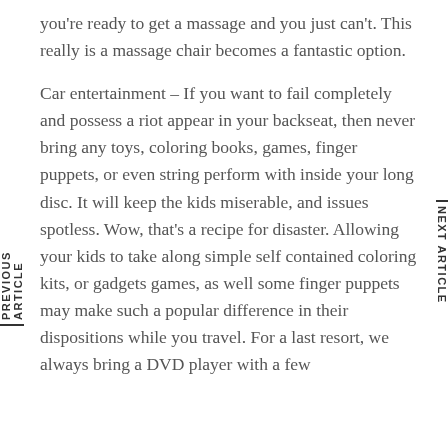you're ready to get a massage and you just can't. This really is a massage chair becomes a fantastic option.
Car entertainment – If you want to fail completely and possess a riot appear in your backseat, then never bring any toys, coloring books, games, finger puppets, or even string perform with inside your long disc. It will keep the kids miserable, and issues spotless. Wow, that's a recipe for disaster. Allowing your kids to take along simple self contained coloring kits, or gadgets games, as well some finger puppets may make such a popular difference in their dispositions while you travel. For a last resort, we always bring a DVD player with a few
PREVIOUS ARTICLE
NEXT ARTICLE